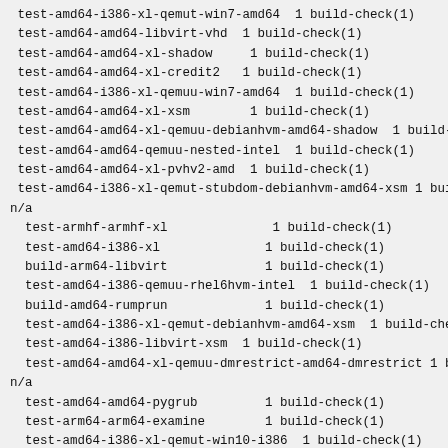test-amd64-i386-xl-qemut-win7-amd64  1 build-check(1)
test-amd64-amd64-libvirt-vhd  1 build-check(1)
test-amd64-amd64-xl-shadow     1 build-check(1)
test-amd64-amd64-xl-credit2   1 build-check(1)
test-amd64-i386-xl-qemuu-win7-amd64  1 build-check(1)
test-amd64-amd64-xl-xsm        1 build-check(1)
test-amd64-amd64-xl-qemuu-debianhvm-amd64-shadow  1 build-che
test-amd64-amd64-qemuu-nested-intel  1 build-check(1)
test-amd64-amd64-xl-pvhv2-amd  1 build-check(1)
test-amd64-i386-xl-qemut-stubdom-debianhvm-amd64-xsm 1 build-
n/a
 test-armhf-armhf-xl              1 build-check(1)
 test-amd64-i386-xl              1 build-check(1)
 build-arm64-libvirt             1 build-check(1)
 test-amd64-i386-qemuu-rhel6hvm-intel  1 build-check(1)
 build-amd64-rumprun             1 build-check(1)
 test-amd64-i386-xl-qemut-debianhvm-amd64-xsm  1 build-check(1
 test-amd64-i386-libvirt-xsm  1 build-check(1)
 test-amd64-amd64-xl-qemuu-dmrestrict-amd64-dmrestrict 1 build
n/a
 test-amd64-amd64-pygrub         1 build-check(1)
 test-arm64-arm64-examine        1 build-check(1)
 test-amd64-i386-xl-qemut-win10-i386  1 build-check(1)
 test-armhf-armhf-xl-credit2   1 build-check(1)
 test-amd64-amd64-xl-qemuu-debianhvm-amd64  1 build-check(1)